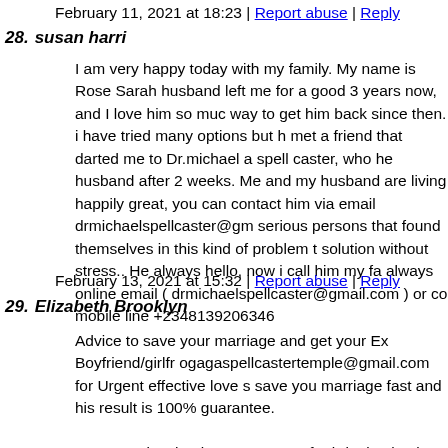February 11, 2021 at 18:23 | Report abuse | Reply
28. susan harri
I am very happy today with my family. My name is Rose Sarah husband left me for a good 3 years now, and I love him so much way to get him back since then. i have tried many options but met a friend that darted me to Dr.michael a spell caster, who he husband after 2 weeks. Me and my husband are living happily great, you can contact him via email drmichaelspellcaster@gm serious persons that found themselves in this kind of problem to solution without stress.. He always hello, now i call him my fa always online email ( drmichaelspellcaster@gmail.com ) or co mobile line +2348139206346
February 13, 2021 at 15:32 | Report abuse | Reply
29. Elizabeth Brooklyn
Advice to save your marriage and get your Ex Boyfriend/girlfr ogagaspellcastertemple@gmail.com for Urgent effective love s save you marriage fast and his result is 100% guarantee.
I want to give thanks to Dr Ogaga for bringing back my ex hus made me believe that the letter I'm about to write would actua the world's biggest skeptic. I never believed in magic spells or told by a reliable source (a very close co-worker) that Trust is